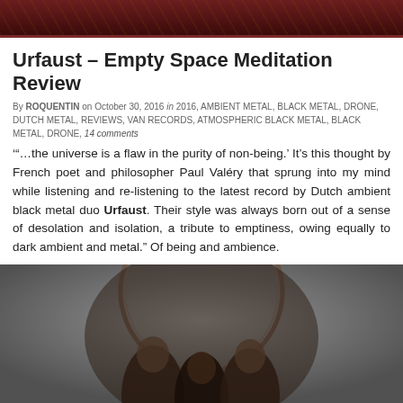[Figure (photo): Dark ornate banner image with reddish-brown tones, decorative border]
Urfaust – Empty Space Meditation Review
By ROQUENTIN on October 30, 2016 in 2016, AMBIENT METAL, BLACK METAL, DRONE, DUTCH METAL, REVIEWS, VAN RECORDS, ATMOSPHERIC BLACK METAL, BLACK METAL, DRONE, 14 comments
'"...the universe is a flaw in the purity of non-being.' It's this thought by French poet and philosopher Paul Valéry that sprung into my mind while listening and re-listening to the latest record by Dutch ambient black metal duo Urfaust. Their style was always born out of a sense of desolation and isolation, a tribute to emptiness, owing equally to dark ambient and metal." Of being and ambience.
[Figure (photo): Black and white photo of two people viewed through a circular stone arch or frame]